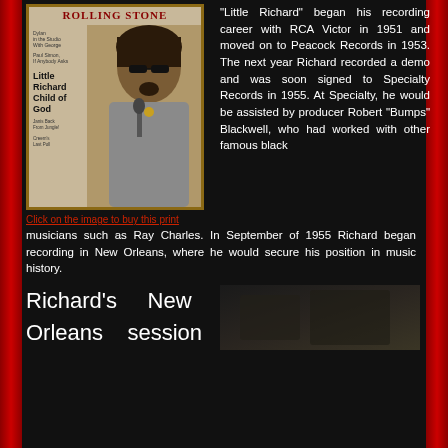[Figure (photo): Rolling Stone magazine cover featuring Little Richard with headline 'Little Richard Child of God']
Click on the image to buy this print
"Little Richard" began his recording career with RCA Victor in 1951 and moved on to Peacock Records in 1953. The next year Richard recorded a demo and was soon signed to Specialty Records in 1955. At Specialty, he would be assisted by producer Robert “Bumps” Blackwell, who had worked with other famous black musicians such as Ray Charles. In September of 1955 Richard began recording in New Orleans, where he would secure his position in music history.
Richard's New Orleans session
[Figure (photo): Dark photograph related to Richard's New Orleans recording session]